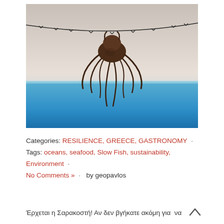[Figure (photo): An octopus hanging from barbed wire over a blue sea background, silhouetted against a pale sky.]
Categories: RESILIENCE, GREECE, GASTRONOMY  ·
Tags: oceans, seafood, Slow Fish, sustainability, Environment  ·
No Comments »  ·  by geopavlos
Έρχεται η Σαρακοστή! Αν δεν βγήκατε ακόμη για να